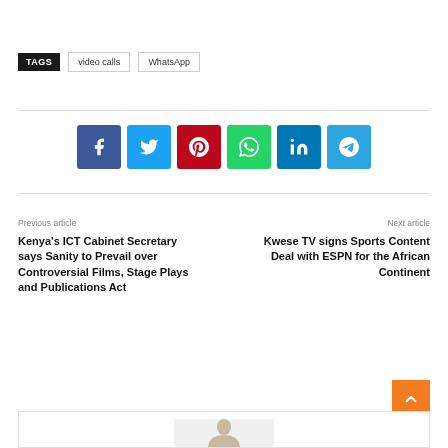TAGS  video calls  WhatsApp
[Figure (other): Social sharing icons: Facebook, Twitter, Pinterest, WhatsApp, LinkedIn, Telegram]
Previous article
Kenya's ICT Cabinet Secretary says Sanity to Prevail over Controversial Films, Stage Plays and Publications Act
Next article
Kwese TV signs Sports Content Deal with ESPN for the African Continent
[Figure (photo): Partially visible person/profile photo at bottom of page]